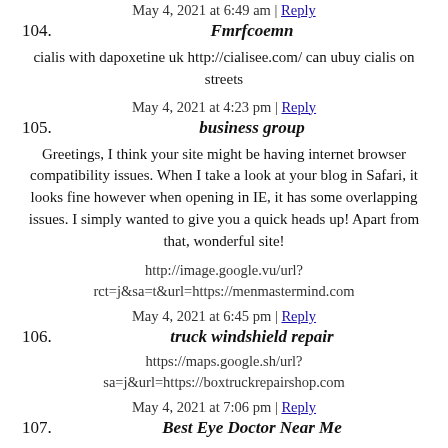May 4, 2021 at 6:49 am | Reply
104. Fmrfcoemn
cialis with dapoxetine uk http://cialisee.com/ can ubuy cialis on streets
May 4, 2021 at 4:23 pm | Reply
105. business group
Greetings, I think your site might be having internet browser compatibility issues. When I take a look at your blog in Safari, it looks fine however when opening in IE, it has some overlapping issues. I simply wanted to give you a quick heads up! Apart from that, wonderful site!
http://image.google.vu/url?rct=j&sa=t&url=https://menmastermind.com
May 4, 2021 at 6:45 pm | Reply
106. truck windshield repair
https://maps.google.sh/url?sa=j&url=https://boxtruckrepairshop.com
May 4, 2021 at 7:06 pm | Reply
107. Best Eye Doctor Near Me